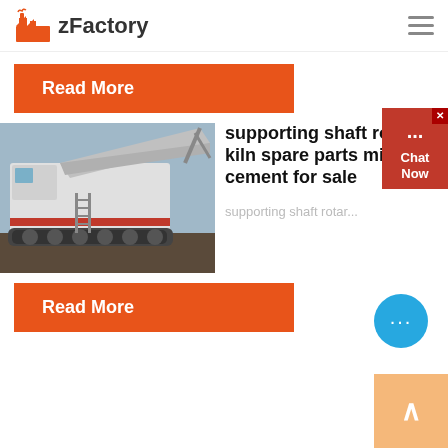zFactory
Read More
[Figure (photo): Industrial mobile crushing machine / screener on tracks at a worksite]
supporting shaft rotary kiln spare parts mini cement for sale
supporting shaft rotar...
Read More